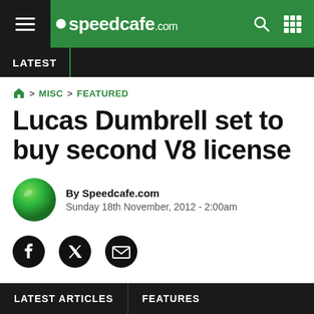speedcafe.com
LATEST
Home > MISC > FEATURED
Lucas Dumbrell set to buy second V8 license
By Speedcafe.com
Sunday 18th November, 2012 - 2:00am
[Figure (illustration): Social sharing icons: Facebook, Twitter, Email]
LATEST ARTICLES    FEATURES